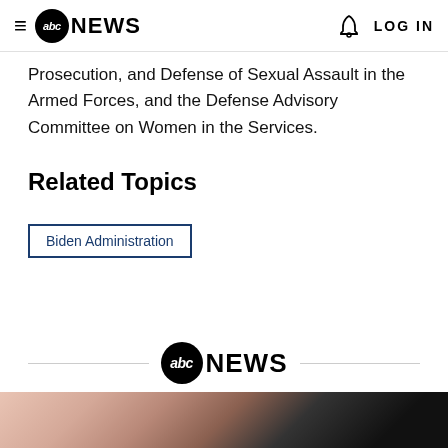≡ abc NEWS  🔔  LOG IN
Prosecution, and Defense of Sexual Assault in the Armed Forces, and the Defense Advisory Committee on Women in the Services.
Related Topics
Biden Administration
[Figure (logo): ABC News logo with horizontal lines on both sides in footer area]
[Figure (photo): Partial photo visible at bottom of page, appears to show a person]